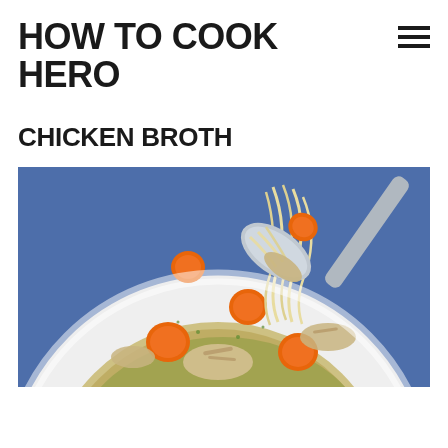HOW TO COOK HERO
CHICKEN BROTH
[Figure (photo): A white bowl of chicken noodle soup with carrots, shredded chicken, and noodles on a spoon, set on a blue background.]